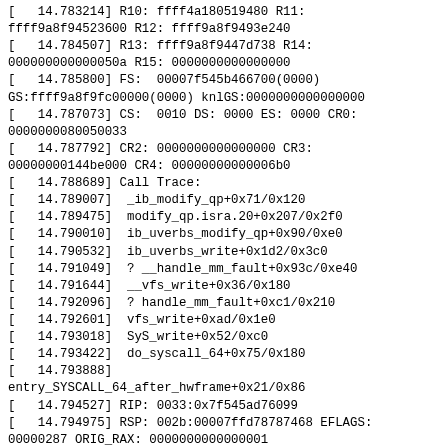[   14.783214] R10: ffff4a180519480 R11: ffff9a8f94523600 R12: ffff9a8f9493e240
[   14.784507] R13: ffff9a8f9447d738 R14: 000000000000050a R15: 0000000000000000
[   14.785800] FS:  00007f545b466700(0000) GS:ffff9a8f9fc00000(0000) knlGS:0000000000000000
[   14.787073] CS:  0010 DS: 0000 ES: 0000 CR0: 0000000080050033
[   14.787792] CR2: 0000000000000000 CR3: 00000000144be000 CR4: 00000000000006b0
[   14.788689] Call Trace:
[   14.789007]  _ib_modify_qp+0x71/0x120
[   14.789475]  modify_qp.isra.20+0x207/0x2f0
[   14.790010]  ib_uverbs_modify_qp+0x90/0xe0
[   14.790532]  ib_uverbs_write+0x1d2/0x3c0
[   14.791049]  ? __handle_mm_fault+0x93c/0xe40
[   14.791644]  __vfs_write+0x36/0x180
[   14.792096]  ? handle_mm_fault+0xc1/0x210
[   14.792601]  vfs_write+0xad/0x1e0
[   14.793018]  SyS_write+0x52/0xc0
[   14.793422]  do_syscall_64+0x75/0x180
[   14.793888]
entry_SYSCALL_64_after_hwframe+0x21/0x86
[   14.794527] RIP: 0033:0x7f545ad76099
[   14.794975] RSP: 002b:00007ffd78787468 EFLAGS: 00000287 ORIG_RAX: 0000000000000001
[   14.795958] RAX: ffffffffffffffda RBX: 0000000000000000 RCX: 00007f545ad76099
[   14.797075] RDX: 0000000000000078 RSI: 0000000020009000 RDI: 0000000000000003